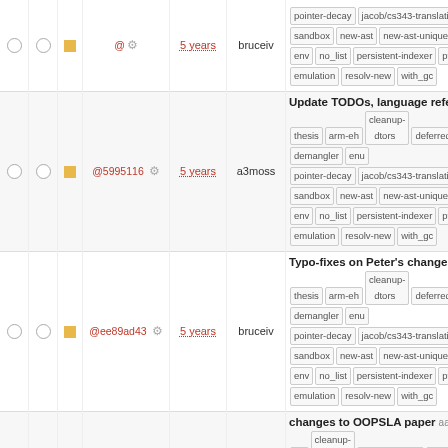|  |  |  | hash | age | author | description/tags |
| --- | --- | --- | --- | --- | --- | --- |
| ○ | ○ | ■ | @5995116 | 5 years | a3moss | Update TODOs, language referen… | thesis arm-eh cleanup-dtors deferred_resn demangler enu pointer-decay jacob/cs343-translation sandbox new-ast new-ast-unique-expe env no_list persistent-indexer pthrea emulation resolv-new with_gc |
| ○ | ○ | ■ | @ee89ad43 | 5 years | bruceiv | Typo-fixes on Peter's changes | thesis arm-eh cleanup-dtors deferred_resn demangler enu pointer-decay jacob/cs343-translation sandbox new-ast new-ast-unique-expe env no_list persistent-indexer pthrea emulation resolv-new with_gc |
| ○ | ○ | ■ | @06cf47f | 5 years | pabuhr | changes to OOPSLA paper | aar eh cleanup-dtors deferred_resn demangler enu pointer-decay jacob/cs343-translation sandbox new-ast new-ast-unique-expe env no_list persistent-indexer pthrea emulation resolv-new with_gc |
| ○ | ○ | ■ | @03d416f | 6 years | pabuhr | update bibliography file | aaron-thes eh cleanup-dtors deferred_resn demangler enu pointer-decay jacob/cs343-translation sandbox new-ast new-ast-unique-expe env no_list persistent-indexer pthrea emulation resolv-new with_gc |
| ○ | ○ | ■ |  |  |  | Add Pennello et al. citation to Co… | aaron-thesis arm-eh cleanup-… |